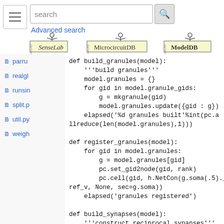[Figure (screenshot): Navigation bar with hamburger menu, search box, search button, Advanced search link, and three logos: SenseLab, MicrocircuitDB, ModelDB]
parru
realgl
runsin
split.p
util.py
weigh
def build_granules(model):
    '''build granules'''
    model.granules = {}
    for gid in model.granule_gids:
        g = mkgranule(gid)
        model.granules.update({gid : g})
    elapsed('%d granules built'%int(pc.a
llreduce(len(model.granules),1)))

def register_granules(model):
    for gid in model.granules:
        g = model.granules[gid]
        pc.set_gid2node(gid, rank)
        pc.cell(gid, h.NetCon(g.soma(.5)._
ref_v, None, sec=g.soma))
    elapsed('granules registered')

def build_synapses(model):
    '''construct reciprocal synapses'''
    ...